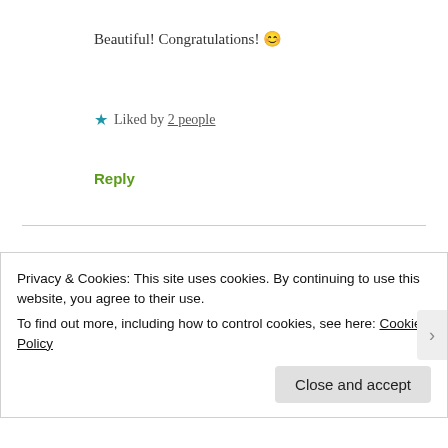Beautiful! Congratulations! 😊
★ Liked by 2 people
Reply
Chocoviv says: August 31, 2019 at 12:04 pm
Thank you 🙏
Privacy & Cookies: This site uses cookies. By continuing to use this website, you agree to their use.
To find out more, including how to control cookies, see here: Cookie Policy
Close and accept